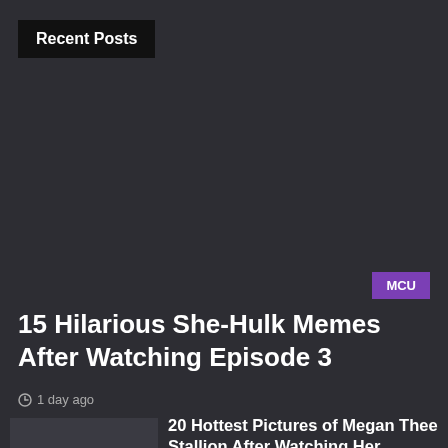Recent Posts
MCU
15 Hilarious She-Hulk Memes After Watching Episode 3
1 day ago
20 Hottest Pictures of Megan Thee Stallion After Watching Her Sexiest Twerks In She-